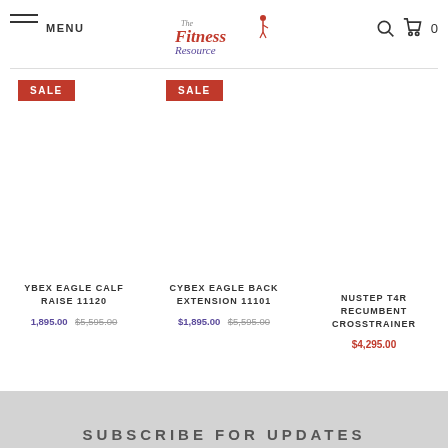MENU | The Fitness Resource | Search | Cart 0
[Figure (screenshot): Product listing page showing three fitness equipment items with SALE badges and prices]
CYBEX EAGLE CALF RAISE 11120 — $1,895.00 $5,595.00
CYBEX EAGLE BACK EXTENSION 11101 — $1,895.00 $5,595.00
NUSTEP T4R RECUMBENT CROSSTRAINER — $4,295.00
SUBSCRIBE FOR UPDATES